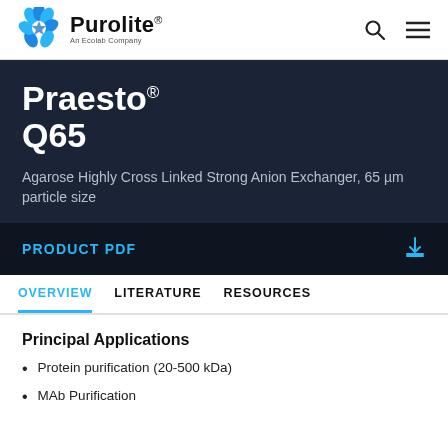Purolite — An Ecolab Company
Praesto® Q65
Agarose Highly Cross Linked Strong Anion Exchanger, 65 µm particle size
PRODUCT PDF
OVERVIEW  LITERATURE  RESOURCES
Principal Applications
Protein purification (20-500 kDa)
MAb Purification